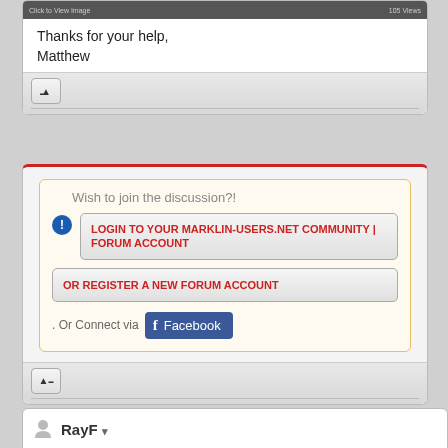[Figure (screenshot): Dark gray image bar at top of forum post with 'Click to View Image' text and '105 Views' on the right]
Thanks for your help,
Matthew
[Figure (screenshot): Forum login prompt box with orange border containing: 'Wish to join the discussion?!' text, a LOGIN TO YOUR MARKLIN-USERS.NET COMMUNITY | FORUM ACCOUNT button in red, OR REGISTER A NEW FORUM ACCOUNT button in red, and a Facebook connect button]
RayF